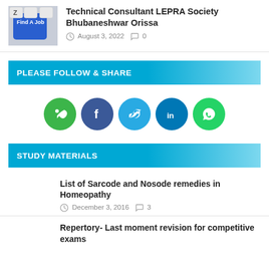[Figure (photo): Keyboard key with 'Find A Job' text in blue]
Technical Consultant LEPRA Society Bhubaneshwar Orissa
August 3, 2022  0
PLEASE FOLLOW & SHARE
[Figure (infographic): Social media share icons: Follow, Facebook, Twitter, LinkedIn, WhatsApp]
STUDY MATERIALS
List of Sarcode and Nosode remedies in Homeopathy
December 3, 2016  3
Repertory- Last moment revision for competitive exams